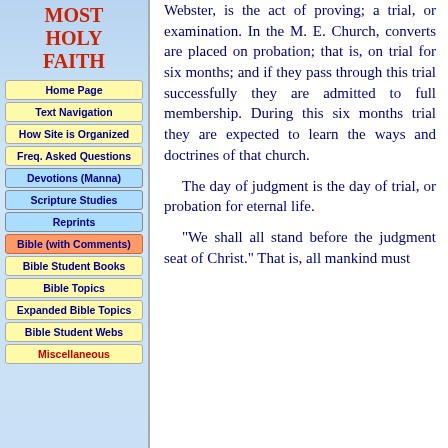MOST HOLY FAITH
Home Page
Text Navigation
How Site is Organized
Freq. Asked Questions
Devotions (Manna)
Scripture Studies
Reprints
Bible (with Comments)
Bible Student Books
Bible Topics
Expanded Bible Topics
Bible Student Webs
Miscellaneous
Webster, is the act of proving; a trial, or examination. In the M. E. Church, converts are placed on probation; that is, on trial for six months; and if they pass through this trial successfully they are admitted to full membership. During this six months trial they are expected to learn the ways and doctrines of that church.
The day of judgment is the day of trial, or probation for eternal life.
"We shall all stand before the judgment seat of Christ." That is, all mankind must